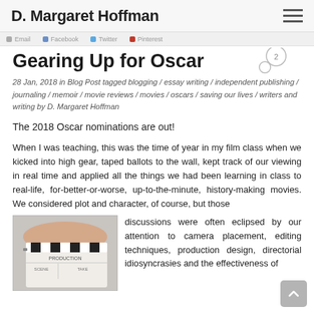D. Margaret Hoffman
Gearing Up for Oscar
28 Jan, 2018 in Blog Post tagged blogging / essay writing / independent publishing / journaling / memoir / movie reviews / movies / oscars / saving our lives / writers and writing by D. Margaret Hoffman
The 2018 Oscar nominations are out!
When I was teaching, this was the time of year in my film class when we kicked into high gear, taped ballots to the wall, kept track of our viewing in real time and applied all the things we had been learning in class to real-life, for-better-or-worse, up-to-the-minute, history-making movies. We considered plot and character, of course, but those discussions were often eclipsed by our attention to camera placement, editing techniques, production design, directorial idiosyncrasies and the effectiveness of
[Figure (photo): A hand holding a film clapperboard (clapper/slate), black and white stripes on top, white body with 'PRODUCTION', 'SCENE', 'TAKE' text visible at bottom]